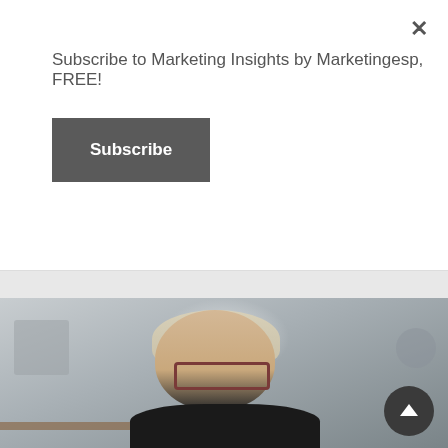Subscribe to Marketing Insights by Marketingesp, FREE!
Subscribe
×
[Figure (photo): Portrait photo of a middle-aged woman with short blonde hair and dark-framed glasses, wearing a black top, smiling, seated in an office/studio setting with blurred background including shelves and office items.]